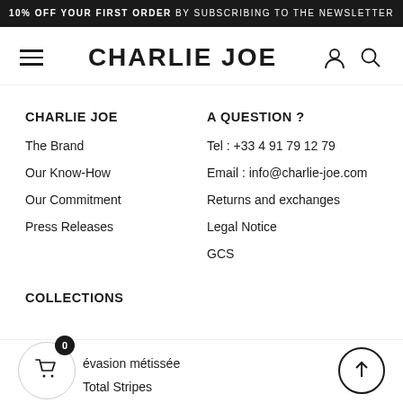10% OFF YOUR FIRST ORDER BY SUBSCRIBING TO THE NEWSLETTER
CHARLIE JOE
CHARLIE JOE
The Brand
Our Know-How
Our Commitment
Press Releases
A QUESTION ?
Tel : +33 4 91 79 12 79
Email : info@charlie-joe.com
Returns and exchanges
Legal Notice
GCS
COLLECTIONS
évasion métissée
Total Stripes